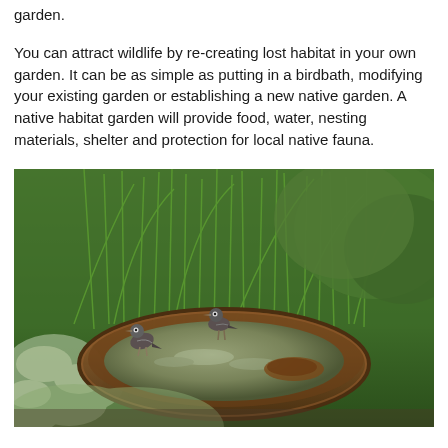garden.
You can attract wildlife by re-creating lost habitat in your own garden. It can be as simple as putting in a birdbath, modifying your existing garden or establishing a new native garden. A native habitat garden will provide food, water, nesting materials, shelter and protection for local native fauna.
[Figure (photo): Birds at a rustic metal birdbath surrounded by native grasses and silver-green foliage plants. Two small birds are visible at the edge and rim of a wide shallow rust-coloured dish filled with water.]